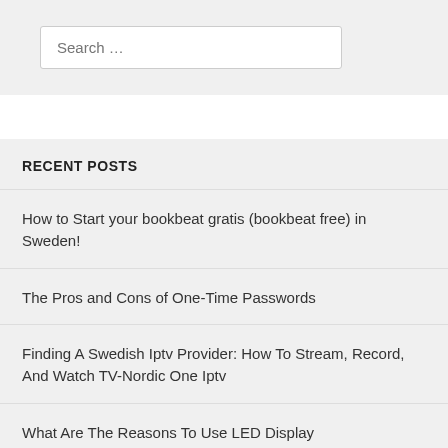Search …
RECENT POSTS
How to Start your bookbeat gratis (bookbeat free) in Sweden!
The Pros and Cons of One-Time Passwords
Finding A Swedish Iptv Provider: How To Stream, Record, And Watch TV-Nordic One Iptv
What Are The Reasons To Use LED Display